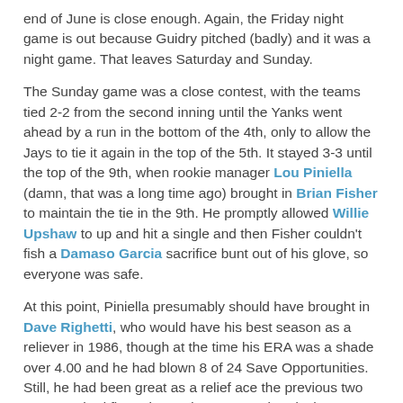end of June is close enough.  Again, the Friday night game is out because Guidry pitched (badly) and it was a night game.  That leaves Saturday and Sunday.
The Sunday game was a close contest, with the teams tied 2-2 from the second inning until the Yanks went ahead by a run in the bottom of the 4th, only to allow the Jays to tie it again in the top of the 5th.  It stayed 3-3 until the top of the 9th, when rookie manager Lou Piniella (damn, that was a long time ago) brought in Brian Fisher to maintain the tie in the 9th.  He promptly allowed Willie Upshaw to up and hit a single and then Fisher couldn't fish a Damaso Garcia sacrifice bunt out of his glove, so everyone was safe.
At this point, Piniella presumably should have brought in Dave Righetti, who would have his best season as a reliever in 1986, though at the time his ERA was a shade over 4.00 and he had blown 8 of 24 Save Opportunities.  Still, he had been great as a relief ace the previous two seasons, had five Wins and 16 Saves already that year, and was a lefty, like the next batter, Ernie Whitt, who had already homered that day.